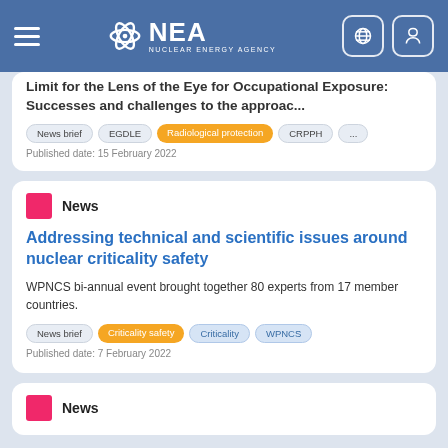NEA Nuclear Energy Agency
Limit for the Lens of the Eye for Occupational Exposure: Successes and challenges to the approac...
Tags: News brief, EGDLE, Radiological protection, CRPPH, ...
Published date: 15 February 2022
News
Addressing technical and scientific issues around nuclear criticality safety
WPNCS bi-annual event brought together 80 experts from 17 member countries.
Tags: News brief, Criticality safety, Criticality, WPNCS
Published date: 7 February 2022
News